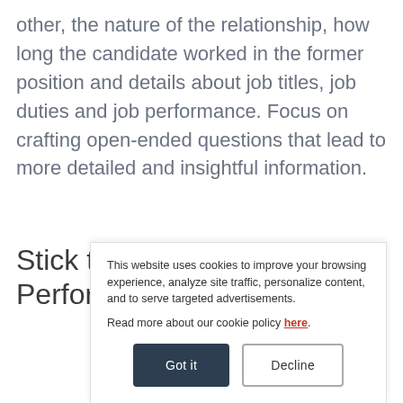other, the nature of the relationship, how long the candidate worked in the former position and details about job titles, job duties and job performance. Focus on crafting open-ended questions that lead to more detailed and insightful information.
Stick to Questions About Job Performance
This website uses cookies to improve your browsing experience, analyze site traffic, personalize content, and to serve targeted advertisements.

Read more about our cookie policy here.